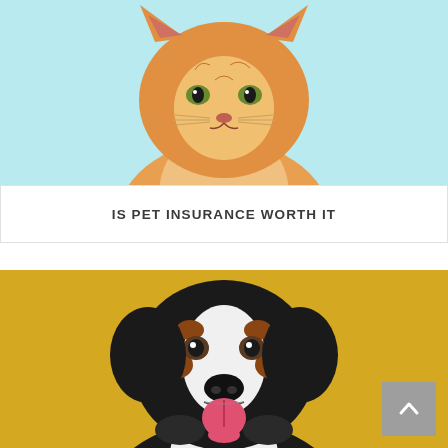[Figure (photo): Orange tabby cat photographed against a light blue background, visible from chest up, looking slightly upward]
IS PET INSURANCE WORTH IT
[Figure (photo): Bernese mountain dog with black, white, and brown fur, sitting against a bright yellow background, tongue out and appearing happy]